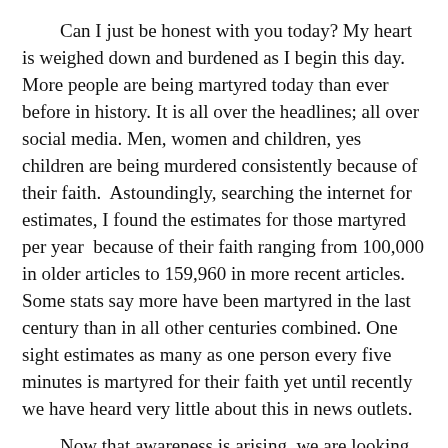Can I just be honest with you today? My heart is weighed down and burdened as I begin this day.  More people are being martyred today than ever before in history. It is all over the headlines; all over social media. Men, women and children, yes children are being murdered consistently because of their faith.  Astoundingly, searching the internet for estimates, I found the estimates for those martyred per year  because of their faith ranging from 100,000 in older articles to 159,960 in more recent articles. Some stats say more have been martyred in the last century than in all other centuries combined. One sight estimates as many as one person every five minutes is martyred for their faith yet until recently we have heard very little about this in news outlets.

Now that awareness is arising, we are looking for